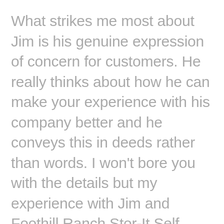What strikes me most about Jim is his genuine expression of concern for customers. He really thinks about how he can make your experience with his company better and he conveys this in deeds rather than words. I won't bore you with the details but my experience with Jim and Foothill Ranch Stor-It Self Storage got me thinking about how I serve my clients.
Do my clients feel like I am going the extra mile for them?
The thing is, with not so something you can